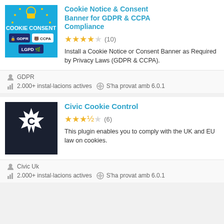[Figure (screenshot): Cookie Notice & Consent Banner plugin thumbnail showing blue background with COOKIE CONSENT text, GDPR, CCPA, LGPD badges]
Cookie Notice & Consent Banner for GDPR & CCPA Compliance
3.5 stars (10)
Install a Cookie Notice or Consent Banner as Required by Privacy Laws (GDPR & CCPA).
GDPR
2.000+ instal·lacions actives   S'ha provat amb 6.0.1
[Figure (logo): Civic Cookie Control plugin thumbnail showing dark navy background with white star-burst shape and bold C letter]
Civic Cookie Control
3.5 stars (6)
This plugin enables you to comply with the UK and EU law on cookies.
Civic Uk
2.000+ instal·lacions actives   S'ha provat amb 6.0.1